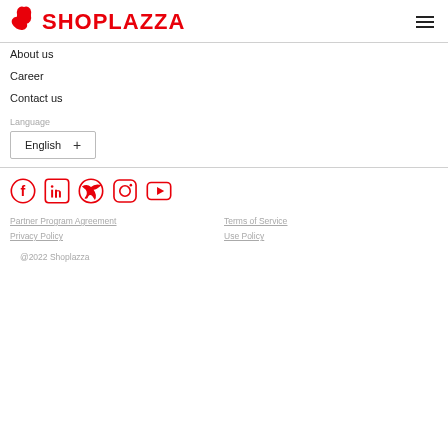[Figure (logo): Shoplazza logo with red leaf/flower icon and red bold text SHOPLAZZA]
About us
Career
Contact us
Language
English +
[Figure (infographic): Social media icons row: Facebook, LinkedIn, Twitter, Instagram, YouTube — all in red outline style]
Partner Program Agreement   Terms of Service   Privacy Policy   Use Policy   @2022 Shoplazza